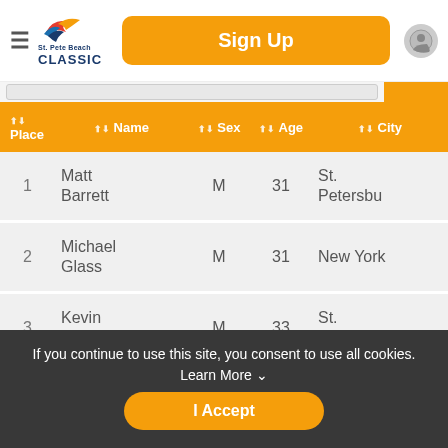St. Pete Beach Classic — Sign Up
| Place | Name | Sex | Age | City |
| --- | --- | --- | --- | --- |
| 1 | Matt Barrett | M | 31 | St. Petersbu |
| 2 | Michael Glass | M | 31 | New York |
| 3 | Kevin Crews | M | 33 | St. Petersbu |
| 4 | Matthew Lalibert | M | 32 | Parrish |
If you continue to use this site, you consent to use all cookies. Learn More
I Accept